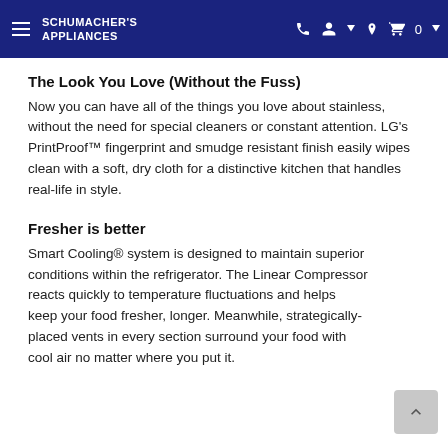Schumacher's Appliances
The Look You Love (Without the Fuss)
Now you can have all of the things you love about stainless, without the need for special cleaners or constant attention. LG's PrintProof™ fingerprint and smudge resistant finish easily wipes clean with a soft, dry cloth for a distinctive kitchen that handles real-life in style.
Fresher is better
Smart Cooling® system is designed to maintain superior conditions within the refrigerator. The Linear Compressor reacts quickly to temperature fluctuations and helps keep your food fresher, longer. Meanwhile, strategically-placed vents in every section surround your food with cool air no matter where you put it.